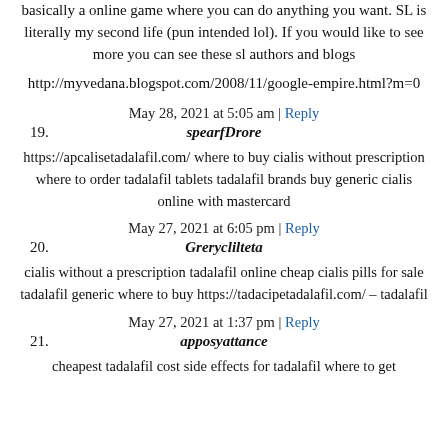basically a online game where you can do anything you want. SL is literally my second life (pun intended lol). If you would like to see more you can see these sl authors and blogs
http://myvedana.blogspot.com/2008/11/google-empire.html?m=0
May 28, 2021 at 5:05 am | Reply
19. spearfDrore
https://apcalisetadalafil.com/ where to buy cialis without prescription where to order tadalafil tablets tadalafil brands buy generic cialis online with mastercard
May 27, 2021 at 6:05 pm | Reply
20. Greryclilteta
cialis without a prescription tadalafil online cheap cialis pills for sale tadalafil generic where to buy https://tadacipetadalafil.com/ – tadalafil
May 27, 2021 at 1:37 pm | Reply
21. apposyattance
cheapest tadalafil cost side effects for tadalafil where to get